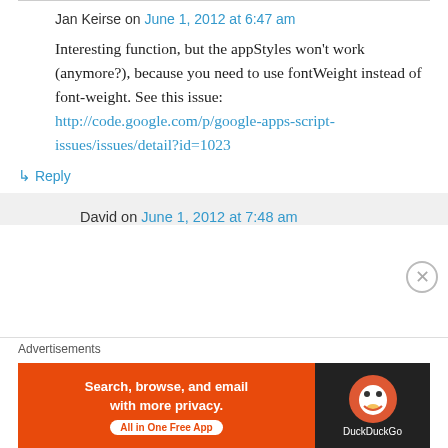Jan Keirse on June 1, 2012 at 6:47 am
Interesting function, but the appStyles won't work (anymore?), because you need to use fontWeight instead of font-weight. See this issue: http://code.google.com/p/google-apps-script-issues/issues/detail?id=1023
↳ Reply
David on June 1, 2012 at 7:48 am
Advertisements
[Figure (other): DuckDuckGo advertisement banner: 'Search, browse, and email with more privacy. All in One Free App' with DuckDuckGo logo on dark background.]